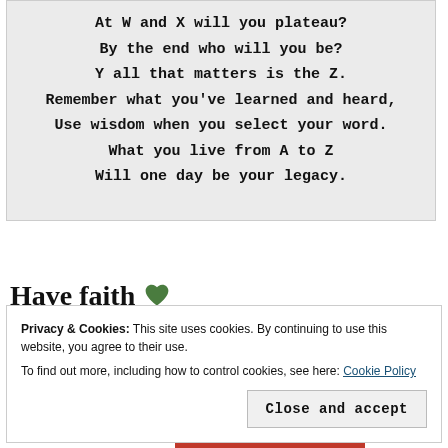At W and X will you plateau?
By the end who will you be?
Y all that matters is the Z.
Remember what you've learned and heard,
Use wisdom when you select your word.
What you live from A to Z
Will one day be your legacy.
Have faith 💚
Privacy & Cookies: This site uses cookies. By continuing to use this website, you agree to their use.
To find out more, including how to control cookies, see here: Cookie Policy
Close and accept
Advertisements